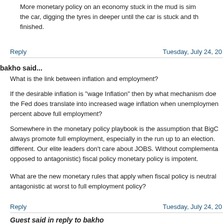More monetary policy on an economy stuck in the mud is sim the car, digging the tyres in deeper until the car is stuck and th finished.
Reply   Tuesday, July 24, 20
bakho said...
What is the link between inflation and employment?
If the desirable inflation is "wage Inflation" then by what mechanism doe the Fed does translate into increased wage inflation when unemploymen percent above full employment?
Somewhere in the monetary policy playbook is the assumption that BigC always promote full employment, especially in the run up to an election. different. Our elite leaders don't care about JOBS. Without complementa opposed to antagonistic) fiscal policy monetary policy is impotent.
What are the new monetary rules that apply when fiscal policy is neutral antagonistic at worst to full employment policy?
Reply   Tuesday, July 24, 20
Guest said in reply to bakho